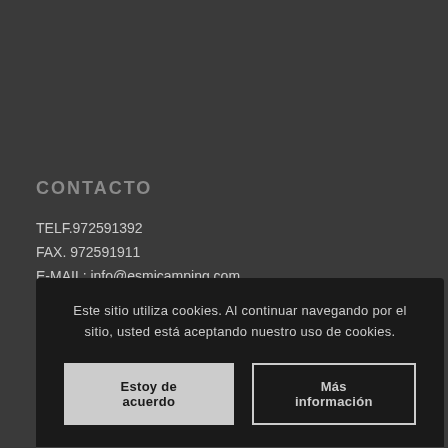CONTACTO
TELF.972591392
FAX. 972591911
E-MAIL: info@esmicamping.com
Este sitio utiliza cookies. Al continuar navegando por el sitio, usted está aceptando nuestro uso de cookies.
Estoy de acuerdo
Más información
EsmiCamping  |  Contactar  |  Política de cookies